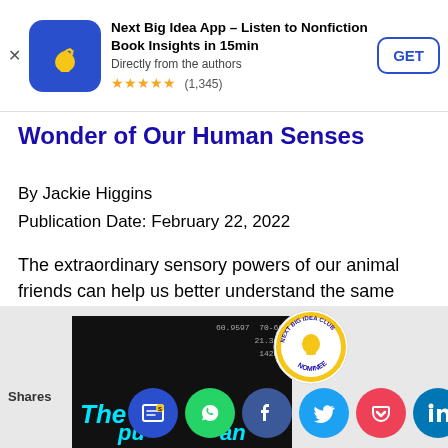[Figure (screenshot): App store ad banner for Next Big Idea App with blue lightbulb icon, title, stars rating (1,345), and GET button]
Wonder of Our Human Senses
By Jackie Higgins
Publication Date: February 22, 2022
The extraordinary sensory powers of our animal friends can help us better understand the same powers that lie dormant within us. View on Amazon
[Figure (screenshot): Bottom area showing book cover thumbnail, Next Big Idea Club Nominee badge, and social share buttons including Sito, WhatsApp, Facebook, Twitter, Pocket, LinkedIn]